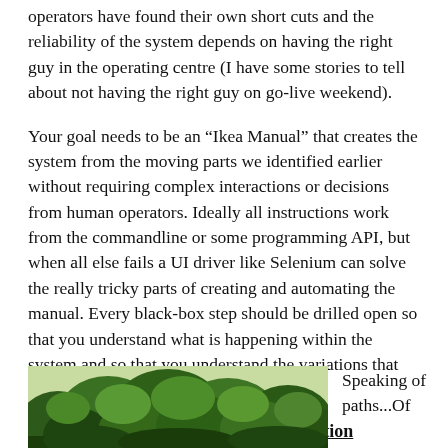operators have found their own short cuts and the reliability of the system depends on having the right guy in the operating centre (I have some stories to tell about not having the right guy on go-live weekend).
Your goal needs to be an “Ikea Manual” that creates the system from the moving parts we identified earlier without requiring complex interactions or decisions from human operators. Ideally all instructions work from the commandline or some programming API, but when all else fails a UI driver like Selenium can solve the really tricky parts of creating and automating the manual. Every black-box step should be drilled open so that you understand what is happening within the system and so that you understand the variations that could cause you trouble down the path.
Part 3. Understand the Path to production
[Figure (photo): Photo of green leafy trees/foliage viewed from below]
Speaking of paths...Of